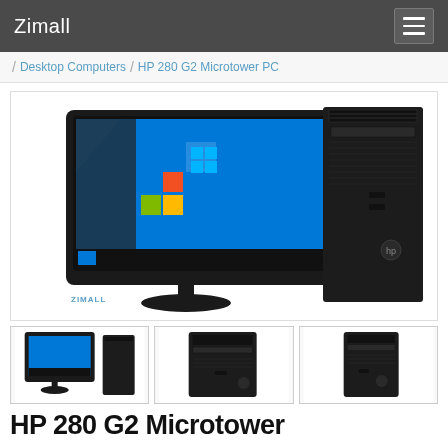Zimall
/ Desktop Computers / HP 280 G2 Microtower PC
[Figure (photo): HP 280 G2 Microtower PC with monitor showing Windows 10 desktop and the tower unit side by side, with ZIMALL watermark in lower left]
[Figure (photo): Thumbnail 1: HP 280 G2 with monitor and tower]
[Figure (photo): Thumbnail 2: HP 280 G2 tower unit alone]
[Figure (photo): Thumbnail 3: HP 280 G2 tower unit from slightly different angle]
HP 280 G2 Microtower